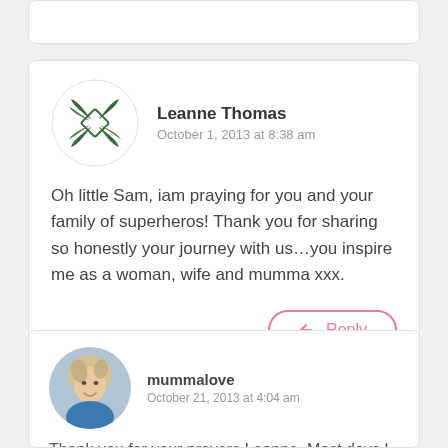[Partial comment card at top]
Leanne Thomas
October 1, 2013 at 8:38 am

Oh little Sam, iam praying for you and your family of superheros! Thank you for sharing so honestly your journey with us...you inspire me as a woman, wife and mumma xxx.
mummalove
October 21, 2013 at 4:04 am

Thank you for your prayers Leanne. Most days I